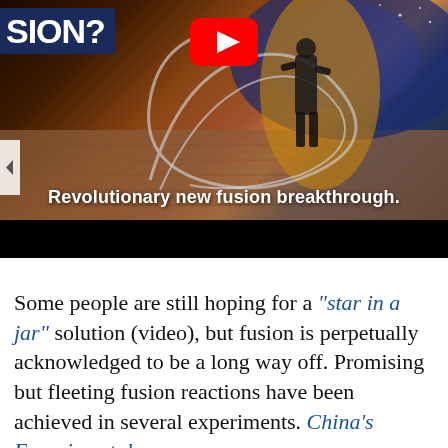[Figure (screenshot): YouTube video thumbnail showing a person standing in a swirling energy vortex on a wooden floor, with text overlay 'Revolutionary new fusion breakthrough.' A YouTube play button is visible at top center. Partial text 'SION?' appears in a dark blue box at top left.]
Some people are still hoping for a "star in a jar" solution (video), but fusion is perpetually acknowledged to be a long way off. Promising but fleeting fusion reactions have been achieved in several experiments. China's Experimental